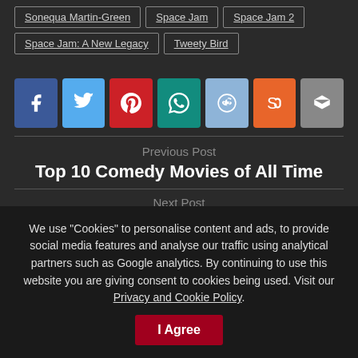Sonequa Martin-Green
Space Jam
Space Jam 2
Space Jam: A New Legacy
Tweety Bird
[Figure (infographic): Social share buttons: Facebook, Twitter, Pinterest, WhatsApp, Reddit, StumbleUpon, Share]
Previous Post
Top 10 Comedy Movies of All Time
Next Post
The New Mutants: Everything You Need To Know
We use "Cookies" to personalise content and ads, to provide social media features and analyse our traffic using analytical partners such as Google analytics. By continuing to use this website you are giving consent to cookies being used. Visit our Privacy and Cookie Policy.
I Agree